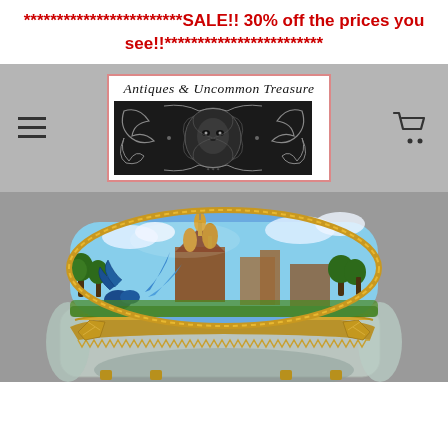************************SALE!! 30% off the prices you see!!************************
[Figure (logo): Antiques & Uncommon Treasure store logo with ornate Victorian engraving design]
[Figure (photo): Antique glass and gilt brass jewelry casket/box with painted enamel lid depicting a cityscape scene, beveled crystal glass sides with ornate gold metal frame and feet]